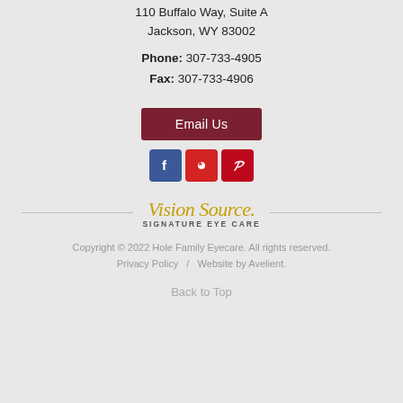110 Buffalo Way, Suite A
Jackson, WY 83002
Phone: 307-733-4905
Fax: 307-733-4906
Email Us
[Figure (other): Social media icons: Facebook (blue), Yelp (red), Pinterest (red)]
[Figure (logo): Vision Source Signature Eye Care logo with script golden text and horizontal divider lines]
Copyright © 2022 Hole Family Eyecare. All rights reserved.
Privacy Policy  /  Website by Avelient.
Back to Top